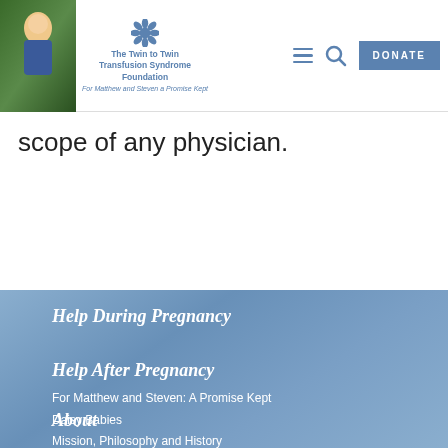[Figure (logo): The Twin to Twin Transfusion Syndrome Foundation logo with photo of young boy and daisy graphic, tagline: For Matthew and Steven a Promise Kept]
scope of any physician.
Help During Pregnancy
Help After Pregnancy
About
For Matthew and Steven: A Promise Kept
Daisy Babies
Mission, Philosophy and History